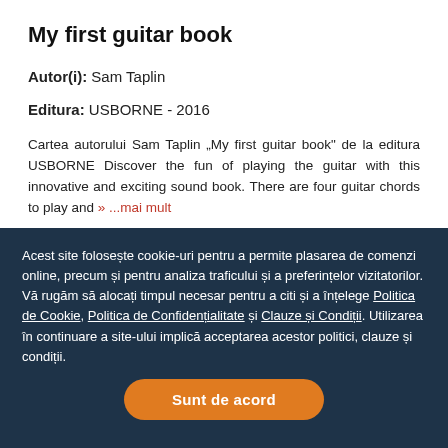My first guitar book
Autor(i): Sam Taplin
Editura: USBORNE - 2016
Cartea autorului Sam Taplin „My first guitar book" de la editura USBORNE Discover the fun of playing the guitar with this innovative and exciting sound book. There are four guitar chords to play and » ...mai mult
Acest site folosește cookie-uri pentru a permite plasarea de comenzi online, precum și pentru analiza traficului și a preferințelor vizitatorilor. Vă rugăm să alocați timpul necesar pentru a citi și a înțelege Politica de Cookie, Politica de Confidențialitate și Clauze și Condiții. Utilizarea în continuare a site-ului implică acceptarea acestor politici, clauze și condiții.
Sunt de acord